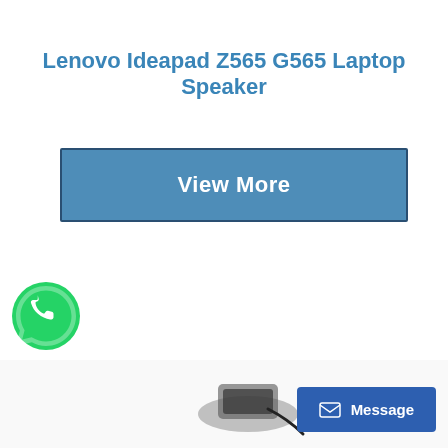Lenovo Ideapad Z565 G565 Laptop Speaker
View More
[Figure (logo): WhatsApp green phone icon logo on white background]
[Figure (photo): Laptop speaker product image partially visible at bottom of page]
Message